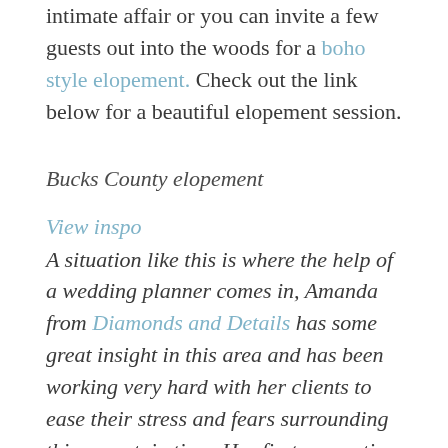intimate affair or you can invite a few guests out into the woods for a boho style elopement. Check out the link below for a beautiful elopement session.
Bucks County elopement
View inspo
A situation like this is where the help of a wedding planner comes in, Amanda from Diamonds and Details has some great insight in this area and has been working very hard with her clients to ease their stress and fears surrounding this uncertain time. Her first suggestion is whatever your decision may be, to start taking the steps sooner rather than later, especially if you're postponing. Venues are filling up